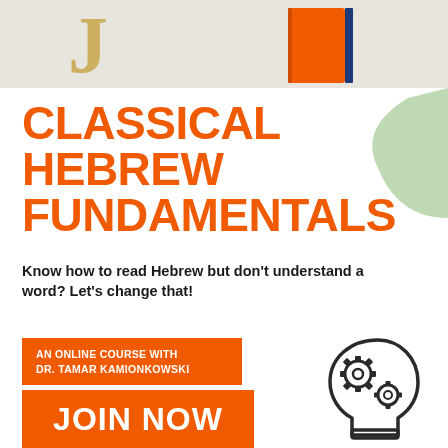[Figure (photo): Top photo strip showing a gold letter J and an orange book on a light beige surface]
CLASSICAL HEBREW FUNDAMENTALS
Know how to read Hebrew but don't understand a word? Let's change that!
AN ONLINE COURSE WITH DR. TAMAR KAMIONKOWSKI
JOIN NOW
[Figure (illustration): Icon of a human head profile with two gear/cog wheels inside, representing learning and thinking]